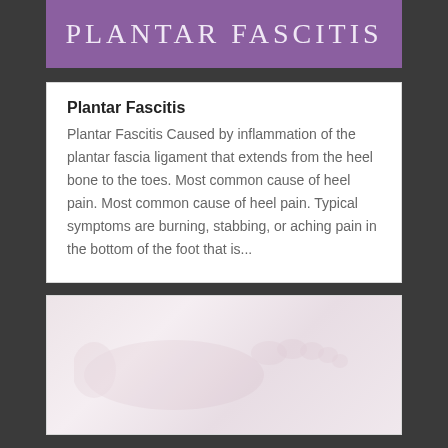PLANTAR FASCITIS
Plantar Fascitis
Plantar Fascitis Caused by inflammation of the plantar fascia ligament that extends from the heel bone to the toes. Most common cause of heel pain. Most common cause of heel pain. Typical symptoms are burning, stabbing, or aching pain in the bottom of the foot that is...
[Figure (photo): Faded/washed-out photo of a foot or feet, very light pink/beige tones, partially visible at bottom of page]